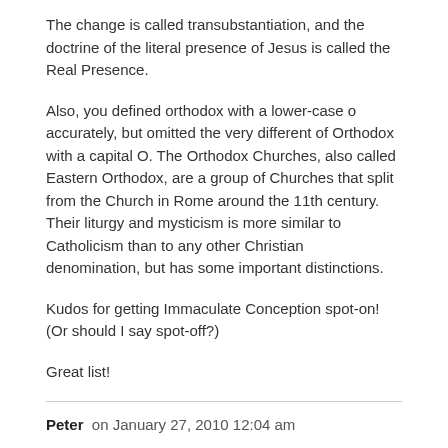The change is called transubstantiation, and the doctrine of the literal presence of Jesus is called the Real Presence.
Also, you defined orthodox with a lower-case o accurately, but omitted the very different of Orthodox with a capital O. The Orthodox Churches, also called Eastern Orthodox, are a group of Churches that split from the Church in Rome around the 11th century. Their liturgy and mysticism is more similar to Catholicism than to any other Christian denomination, but has some important distinctions.
Kudos for getting Immaculate Conception spot-on! (Or should I say spot-off?)
Great list!
Peter  on January 27, 2010 12:04 am
Which kind of religious attitude should bear the name “Atheist”???–the one who just disbelieves in God, or the one who claims there is no god???
They only seem like different things to the mind determined to see religion where there is none — atheism, of course, isn’t a “religious attitude” at all.